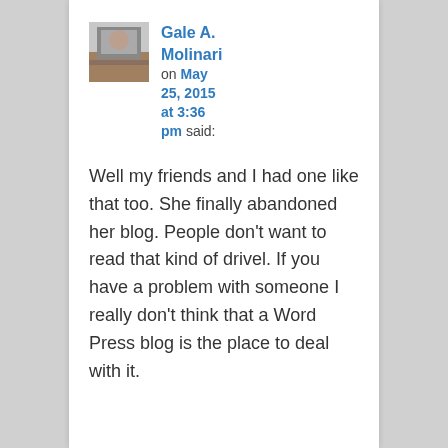[Figure (photo): Small avatar photo of a person, appears to be a cat or person near a window]
Gale A. Molinari on May 25, 2015 at 3:36 pm said:
Well my friends and I had one like that too. She finally abandoned her blog. People don't want to read that kind of drivel. If you have a problem with someone I really don't think that a Word Press blog is the place to deal with it.